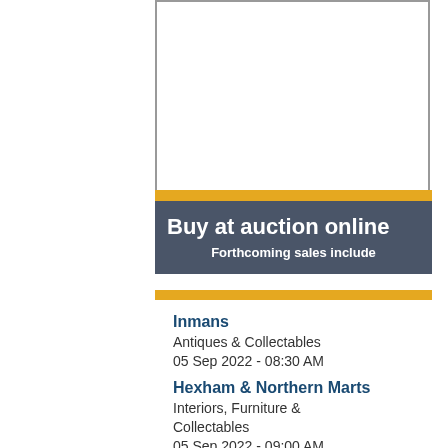[Figure (other): Empty white box with grey border representing an image placeholder]
Buy at auction online
Forthcoming sales include
Inmans
Antiques & Collectables
05 Sep 2022 - 08:30 AM
Hexham & Northern Marts
Interiors, Furniture & Collectables
05 Sep 2022 - 09:00 AM